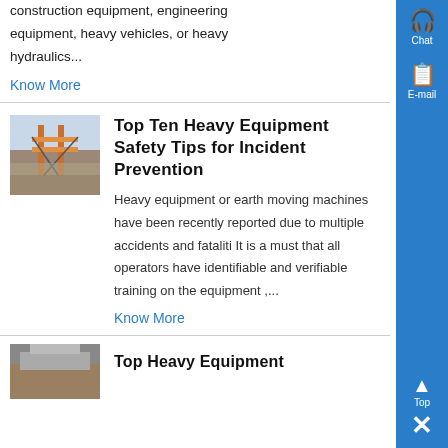construction equipment, engineering equipment, heavy vehicles, or heavy hydraulics...
Know More
[Figure (photo): Photo of heavy equipment / crane structure outdoors]
Top Ten Heavy Equipment Safety Tips for Incident Prevention
Heavy equipment or earth moving machines have been recently reported due to multiple accidents and fataliti It is a must that all operators have identifiable and verifiable training on the equipment ,...
Know More
[Figure (photo): Partial photo of heavy equipment at bottom of page]
Top Heavy Equipment